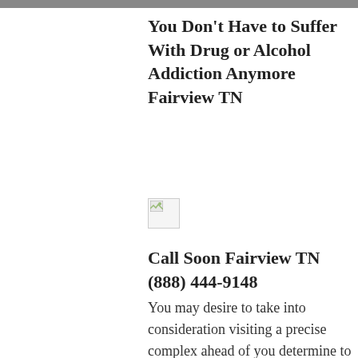You Don't Have to Suffer With Drug or Alcohol Addiction Anymore Fairview TN
[Figure (photo): Broken/missing image placeholder]
Call Soon Fairview TN (888) 444-9148
You may desire to take into consideration visiting a precise complex ahead of you determine to decide certainly one of the many different alcohol and drug detoxifying rehab treatment methods approaches. This could become a fantastic opportunity to determine whether facilities in your location are definitely right for you personally. A drug